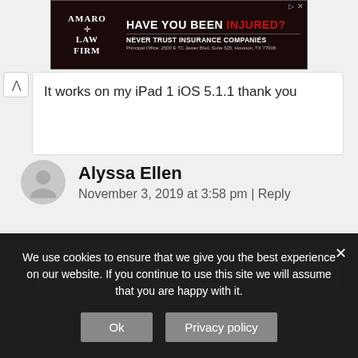[Figure (screenshot): Advertisement banner for Amaro Law Firm: 'Have you been injured? Never trust insurance companies. Principal Office: 2500 E TC Jester Blvd, Suite 525, Houston, TX 77008']
It works on my iPad 1 iOS 5.1.1 thank you
Alyssa Ellen
November 3, 2019 at 3:58 pm | Reply
We use cookies to ensure that we give you the best experience on our website. If you continue to use this site we will assume that you are happy with it.
Ok
Privacy policy